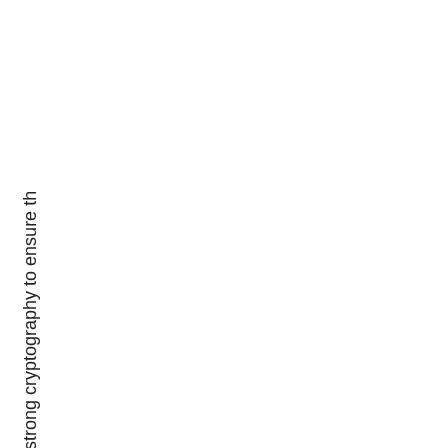strong cryptography to ensure th